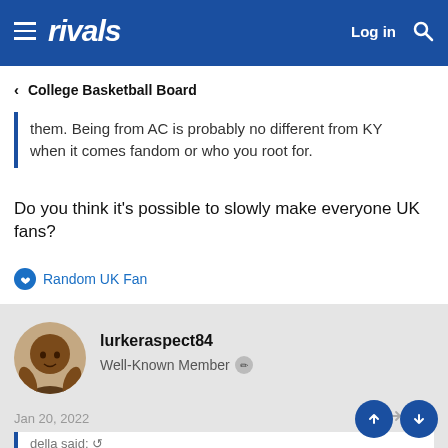rivals — Log in [search]
< College Basketball Board
them. Being from AC is probably no different from KY when it comes fandom or who you root for.
Do you think it’s possible to slowly make everyone UK fans?
Random UK Fan
lurkeraspect84
Well-Known Member
Jan 20, 2022  #78
della said:
You just do that and you can force anymore reports on